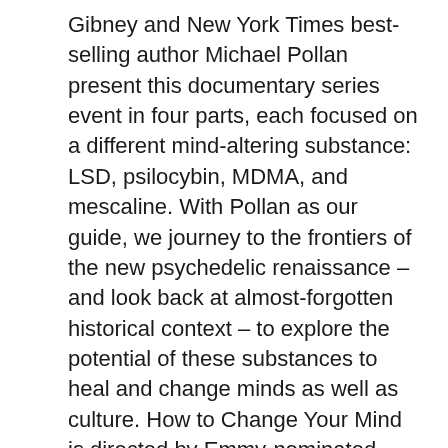Gibney and New York Times best-selling author Michael Pollan present this documentary series event in four parts, each focused on a different mind-altering substance: LSD, psilocybin, MDMA, and mescaline. With Pollan as our guide, we journey to the frontiers of the new psychedelic renaissance – and look back at almost-forgotten historical context – to explore the potential of these substances to heal and change minds as well as culture. How to Change Your Mind is directed by Emmy-nominated filmmaker Alison Ellwood and two-time Academy Award-nominated and Emmy-winning filmmaker Lucy Walker.
My Daughter's Killer — NETFLIX DOCUMENTARY